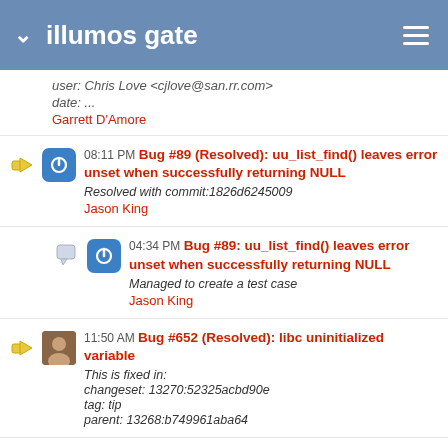illumos gate
user: Chris Love <cjlove@san.rr.com>
date: ...
Garrett D'Amore
08:11 PM Bug #89 (Resolved): uu_list_find() leaves error unset when successfully returning NULL
Resolved with commit:1826d6245009
Jason King
04:34 PM Bug #89: uu_list_find() leaves error unset when successfully returning NULL
Managed to create a test case
Jason King
11:50 AM Bug #652 (Resolved): libc uninitialized variable
This is fixed in:
changeset: 13270:52325acbd90e
tag: tip
parent: 13268:b749961aba64